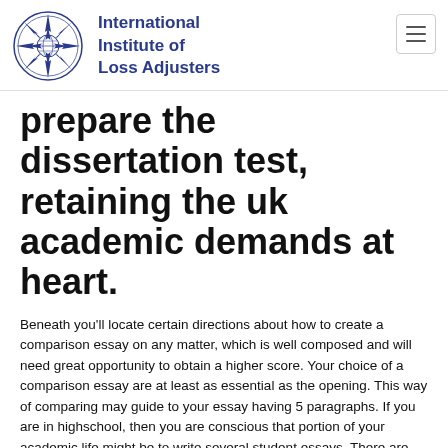[Figure (logo): Circular emblem of the International Institute of Loss Adjusters — a compass rose / star design in navy blue with globe imagery in the center]
International Institute of Loss Adjusters
prepare the dissertation test, retaining the uk academic demands at heart.
Beneath you'll locate certain directions about how to create a comparison essay on any matter, which is well composed and will need great opportunity to obtain a higher score. Your choice of a comparison essay are at least as essential as the opening. This way of comparing may guide to your essay having 5 paragraphs. If you are in highschool, then you are conscious that portion of your academic life might be to write several student essays. There are various academies and universities that provide full-fledged classes as a means to get ready for the GED. The most significant factor to notice about college creating is the dissimilarity from an increased